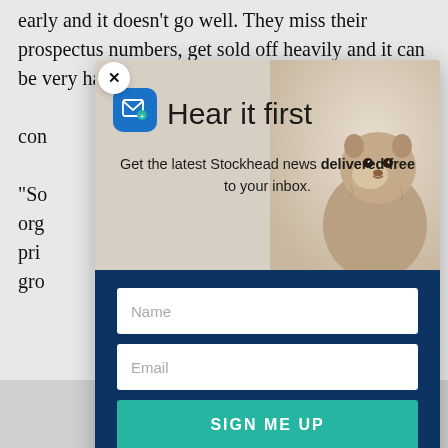early and it doesn't go well. They miss their prospectus numbers, get sold off heavily and it can be very hard for the
con
"So
org
pri
gro
[Figure (infographic): Newsletter signup modal with close button (X), email icon, headline 'Hear it first', subtext 'Get the latest Stockhead news delivered free to your inbox.', groundhog/marmot photo background, Name input field, Email input field, and SIGN ME UP button on dark blue background.]